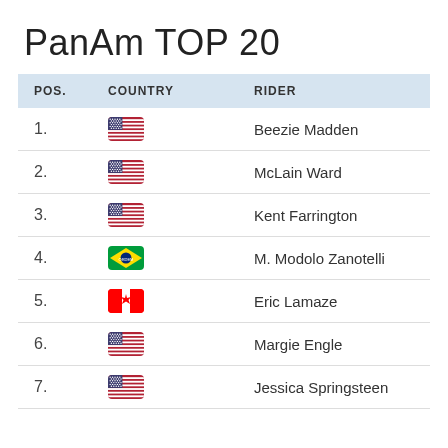PanAm TOP 20
| POS. | COUNTRY | RIDER |
| --- | --- | --- |
| 1. | USA | Beezie Madden |
| 2. | USA | McLain Ward |
| 3. | USA | Kent Farrington |
| 4. | Brazil | M. Modolo Zanotelli |
| 5. | Canada | Eric Lamaze |
| 6. | USA | Margie Engle |
| 7. | USA | Jessica Springsteen |